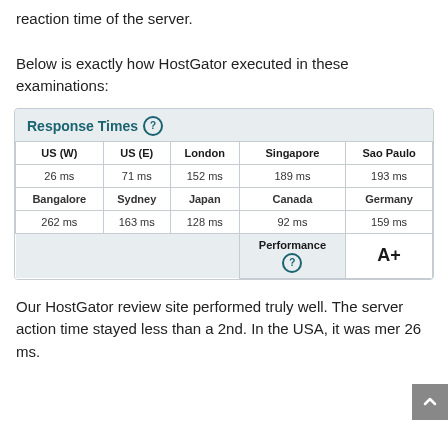reaction time of the server.
Below is exactly how HostGator executed in these examinations:
| US (W) | US (E) | London | Singapore | Sao Paulo |
| --- | --- | --- | --- | --- |
| 26 ms | 71 ms | 152 ms | 189 ms | 193 ms |
| Bangalore | Sydney | Japan | Canada | Germany |
| 262 ms | 163 ms | 128 ms | 92 ms | 159 ms |
|  |  |  | Performance (?) | A+ |
Our HostGator review site performed truly well. The server action time stayed less than a 2nd. In the USA, it was mer 26 ms.